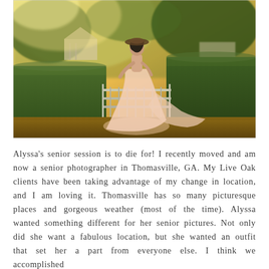[Figure (photo): A woman in a long flowy pink/white floral dress and hat stands at a metal fence gate surrounded by tall green hedges, with warm golden-hour sunlight and houses visible in the background.]
Alyssa's senior session is to die for! I recently moved and am now a senior photographer in Thomasville, GA. My Live Oak clients have been taking advantage of my change in location, and I am loving it. Thomasville has so many picturesque places and gorgeous weather (most of the time). Alyssa wanted something different for her senior pictures. Not only did she want a fabulous location, but she wanted an outfit that set her a part from everyone else. I think we accomplished